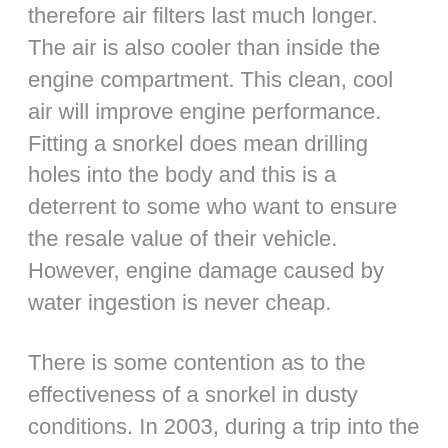therefore air filters last much longer. The air is also cooler than inside the engine compartment. This clean, cool air will improve engine performance. Fitting a snorkel does mean drilling holes into the body and this is a deterrent to some who want to ensure the resale value of their vehicle. However, engine damage caused by water ingestion is never cheap.
There is some contention as to the effectiveness of a snorkel in dusty conditions. In 2003, during a trip into the Richtersveld shooting one of my 4×4 DVD's I did a simple test. Two vehicles, one a Colt and the other a Land Cruiser were used. The Cruiser was fitted with a Safari Snorkel, the Colt had its standard air intake behind a headlight. A